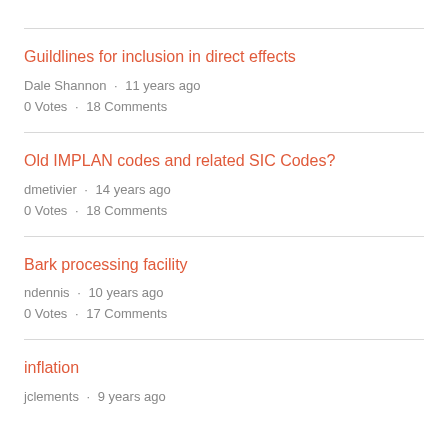Guildlines for inclusion in direct effects
Dale Shannon · 11 years ago
0 Votes · 18 Comments
Old IMPLAN codes and related SIC Codes?
dmetivier · 14 years ago
0 Votes · 18 Comments
Bark processing facility
ndennis · 10 years ago
0 Votes · 17 Comments
inflation
jclements · 9 years ago